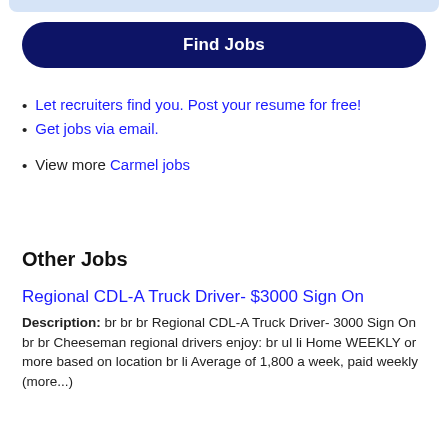[Figure (other): Light blue rounded top bar UI element]
Find Jobs
Let recruiters find you. Post your resume for free!
Get jobs via email.
View more Carmel jobs
Other Jobs
Regional CDL-A Truck Driver- $3000 Sign On
Description: br br br Regional CDL-A Truck Driver- 3000 Sign On br br Cheeseman regional drivers enjoy: br ul li Home WEEKLY or more based on location br li Average of 1,800 a week, paid weekly (more...)